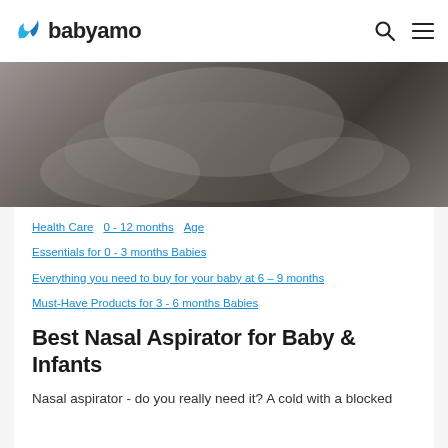babyamo
[Figure (photo): Black and white close-up photo of a baby being held]
Health Care   0 - 12 months   Age
Essentials for 0 - 3 months Babies
Everything you need to buy for your baby at 6 – 9 months
Must-Have Products for 3 - 6 months Babies
Best Nasal Aspirator for Baby & Infants
Nasal aspirator - do you really need it? A cold with a blocked